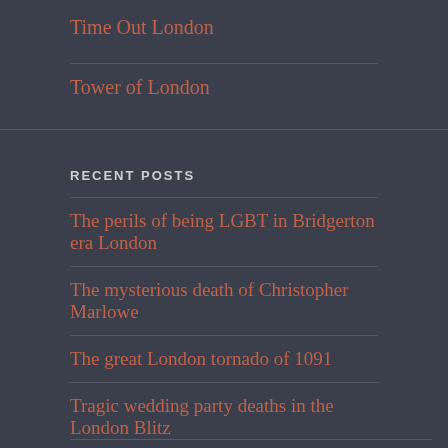Time Out London
Tower of London
RECENT POSTS
The perils of being LGBT in Bridgerton era London
The mysterious death of Christopher Marlowe
The great London tornado of 1091
Tragic wedding party deaths in the London Blitz
London – which statues should be toppled?